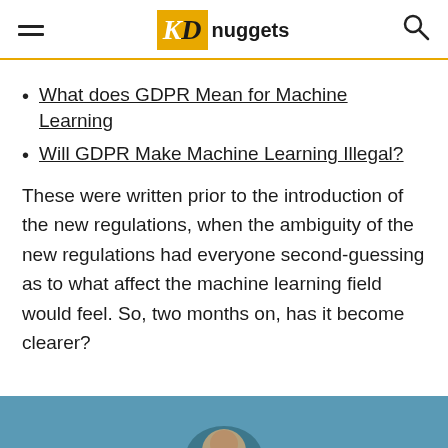KDnuggets
What does GDPR Mean for Machine Learning
Will GDPR Make Machine Learning Illegal?
These were written prior to the introduction of the new regulations, when the ambiguity of the new regulations had everyone second-guessing as to what affect the machine learning field would feel. So, two months on, has it become clearer?
[Figure (photo): Partial image of a person or graphic at the bottom of the page, cropped]